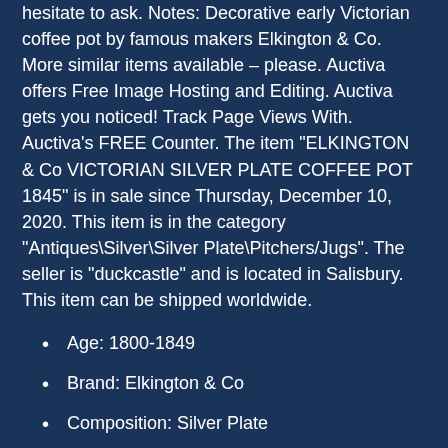hesitate to ask. Notes: Decorative early Victorian coffee pot by famous makers Elkington & Co. More similar items available – please. Auctiva offers Free Image Hosting and Editing. Auctiva gets you noticed! Track Page Views With. Auctiva's FREE Counter. The item "ELKINGTON & Co VICTORIAN SILVER PLATE COFFEE POT 1845" is in sale since Thursday, December 10, 2020. This item is in the category "Antiques\Silver\Silver Plate\Pitchers/Jugs". The seller is "duckcastle" and is located in Salisbury. This item can be shipped worldwide.
Age: 1800-1849
Brand: Elkington & Co
Composition: Silver Plate
Product: Hot Water Jug
Style: Victorian
Antique: Yes